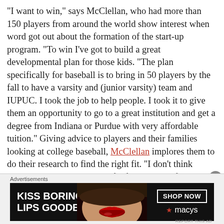“I want to win,” says McClellan, who had more than 150 players from around the world show interest when word got out about the formation of the start-up program. “To win I’ve got to build a great developmental plan for those kids. “The plan specifically for baseball is to bring in 50 players by the fall to have a varsity and (junior varsity) team and IUPUC. I took the job to help people. I took it to give them an opportunity to go to a great institution and get a degree from Indiana or Purdue with very affordable tuition.” Giving advice to players and their families looking at college baseball, McClellan implores them to do their research to find the right fit. “I don’t think anybody truly wants to transfer four times in four years,” says McClellan. “The transfer portal stuff is a necessary evil. I’m glad it empowers players to become happy
Advertisements
[Figure (infographic): Macy's advertisement banner: KISS BORING LIPS GOODBYE with a photo of a woman's lips, SHOP NOW button, and Macy's logo with star]